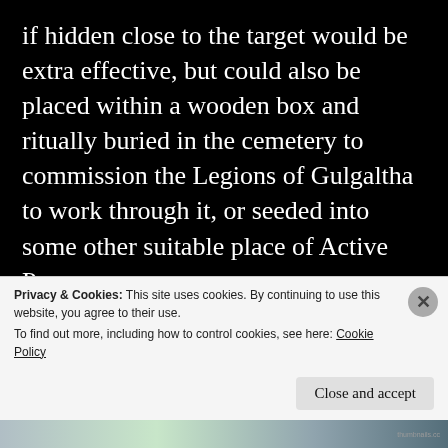if hidden close to the target would be extra effective, but could also be placed within a wooden box and ritually buried in the cemetery to commission the Legions of Gulgaltha to work through it, or seeded into some other suitable place of Active Power.
“The Dragon Egg” spell could similarly be used in adjusted forms in order to work with any of Gavin’s Key Sigils and Powers, by simply adding t
Privacy & Cookies: This site uses cookies. By continuing to use this website, you agree to their use.
To find out more, including how to control cookies, see here: Cookie Policy
Close and accept